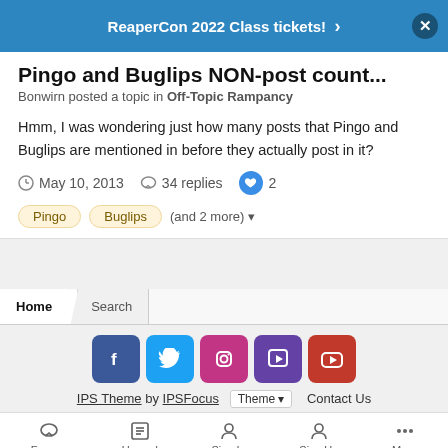ReaperCon 2022 Class tickets! ›
Pingo and Buglips NON-post count...
Bonwirn posted a topic in Off-Topic Rampancy
Hmm, I was wondering just how many posts that Pingo and Buglips are mentioned in before they actually post in it?
May 10, 2013   34 replies   2
Pingo
Buglips
(and 2 more) ▼
Home  Search  |  IPS Theme by IPSFocus  Theme ▼  Contact Us  |  Forums  Unread  Sign In  Sign Up  More